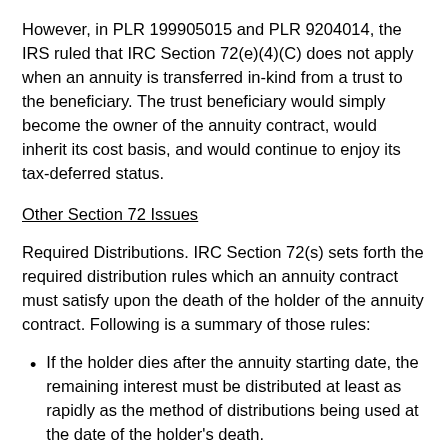However, in PLR 199905015 and PLR 9204014, the IRS ruled that IRC Section 72(e)(4)(C) does not apply when an annuity is transferred in-kind from a trust to the beneficiary. The trust beneficiary would simply become the owner of the annuity contract, would inherit its cost basis, and would continue to enjoy its tax-deferred status.
Other Section 72 Issues
Required Distributions. IRC Section 72(s) sets forth the required distribution rules which an annuity contract must satisfy upon the death of the holder of the annuity contract. Following is a summary of those rules:
If the holder dies after the annuity starting date, the remaining interest must be distributed at least as rapidly as the method of distributions being used at the date of the holder's death.
Generally, if the holder dies before the annuity starting date, the entire interest must be